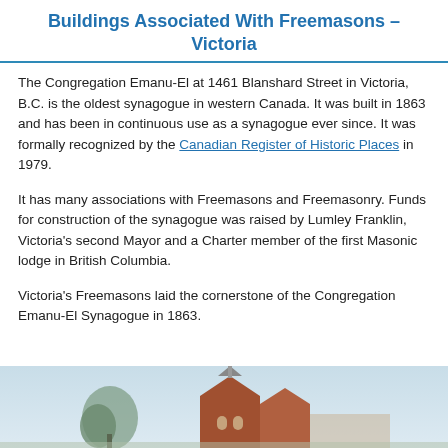Buildings Associated With Freemasons – Victoria
The Congregation Emanu-El at 1461 Blanshard Street in Victoria, B.C. is the oldest synagogue in western Canada. It was built in 1863 and has been in continuous use as a synagogue ever since. It was formally recognized by the Canadian Register of Historic Places in 1979.
It has many associations with Freemasons and Freemasonry. Funds for construction of the synagogue was raised by Lumley Franklin, Victoria's second Mayor and a Charter member of the first Masonic lodge in British Columbia.
Victoria's Freemasons laid the cornerstone of the Congregation Emanu-El Synagogue in 1863.
[Figure (photo): Photograph of the Congregation Emanu-El Synagogue building exterior, partially visible at bottom of page, showing roof and tree silhouette against a light sky.]